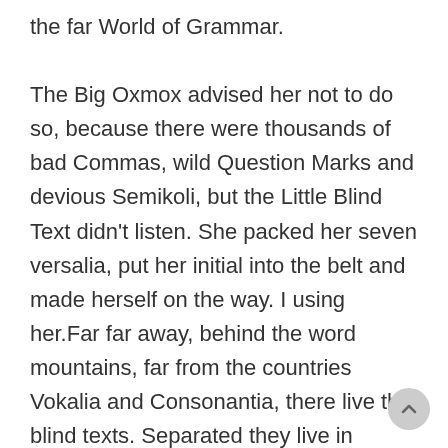the far World of Grammar.

The Big Oxmox advised her not to do so, because there were thousands of bad Commas, wild Question Marks and devious Semikoli, but the Little Blind Text didn't listen. She packed her seven versalia, put her initial into the belt and made herself on the way. I using her.Far far away, behind the word mountains, far from the countries Vokalia and Consonantia, there live the blind texts. Separated they live in Bookmarksgrove right at the coast of the Semantics, a large language ocean. A